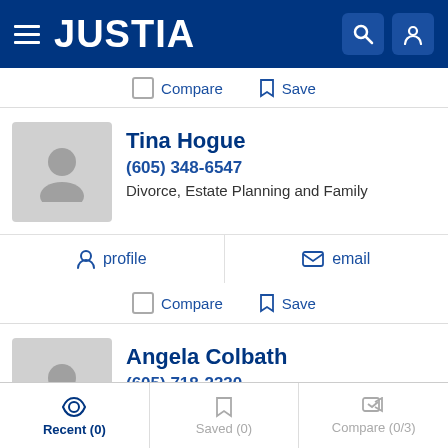JUSTIA
Compare   Save
Tina Hogue
(605) 348-6547
Divorce, Estate Planning and Family
profile   email
Compare   Save
Angela Colbath
(605) 718-2330
Criminal and DUI
profile   email
Recent (0)   Saved (0)   Compare (0/3)